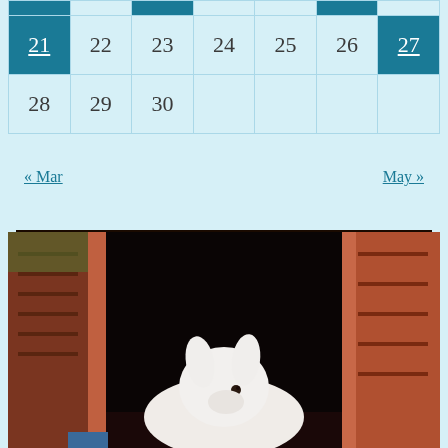|  |  |  |  |  |  |  |
| 21 | 22 | 23 | 24 | 25 | 26 | 27 |
| 28 | 29 | 30 |  |  |  |  |
« Mar    May »
[Figure (photo): A white animal (rabbit or lamb) peeking out from a red barn doorway with dark interior visible]